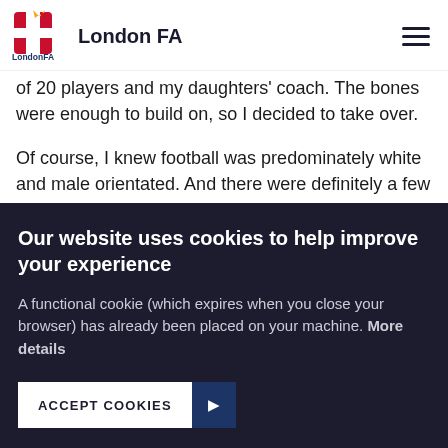London FA
of 20 players and my daughters' coach. The bones were enough to build on, so I decided to take over.
Of course, I knew football was predominately white and male orientated.  And there were definitely a few negative comments from people who had never met me assuming I could not possibly take over a football club. But I knew I'd prove them wrong. My work history consisted of more than
Our website uses cookies to help improve your experience
A functional cookie (which expires when you close your browser) has already been placed on your machine. More details
ACCEPT COOKIES